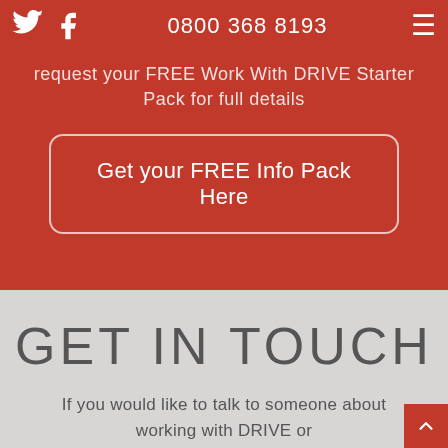0800 368 8193
request your FREE Work With DRIVE Starter Pack for full details
Get your FREE Info Pack Here
GET IN TOUCH
If you would like to talk to someone about working with DRIVE or